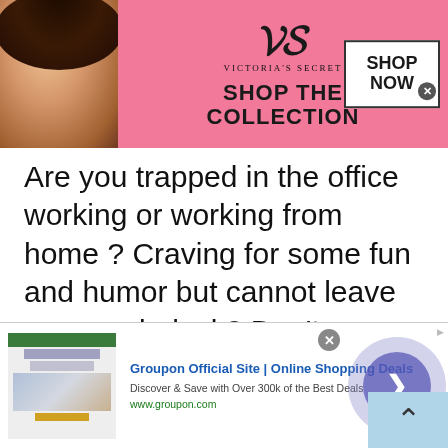[Figure (other): Victoria's Secret advertisement banner with a model, VS logo, 'SHOP THE COLLECTION' text, and 'SHOP NOW' button on a pink background]
Are you trapped in the office working or working from home ? Craving for some fun and humor but cannot leave your work desk? Don't worry talkwithstranger gives you a leisure time platform for free to chat with people of Argentina without having
[Figure (other): Groupon advertisement: 'Groupon Official Site | Online Shopping Deals' with 'Discover & Save with Over 300k of the Best Deals' and 'www.groupon.com', with a circular arrow navigation button]